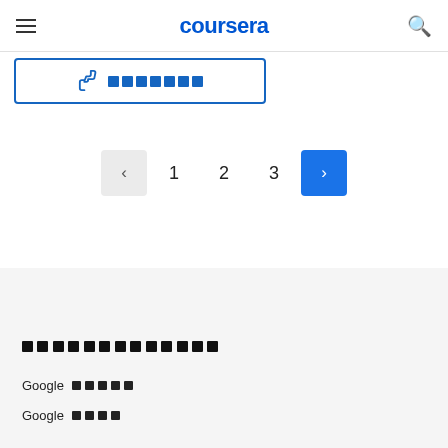coursera
[Figure (screenshot): Thumbs up button with blue border and redacted label text (shown as colored squares)]
[Figure (screenshot): Pagination controls showing previous arrow (gray), page numbers 1, 2, 3, and next arrow (blue)]
████████████ (redacted section heading)
Google █████
Google ████